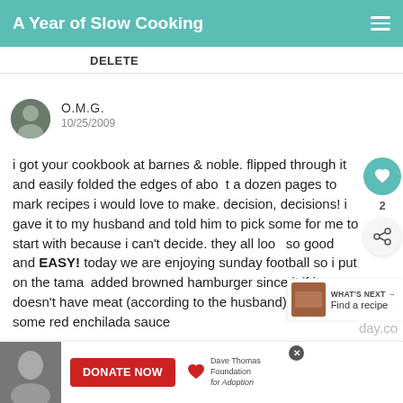A Year of Slow Cooking
DELETE
O.M.G.
10/25/2009
i got your cookbook at barnes & noble. flipped through it and easily folded the edges of about a dozen pages to mark recipes i would love to make. decision, decisions! i gave it to my husband and told him to pick some for me to start with because i can't decide. they all look so good and EASY! today we are enjoying sunday football so i put on the tama... added browned hamburger since it... if it doesn't have meat (according to the husband) and then some red enchilada sauce